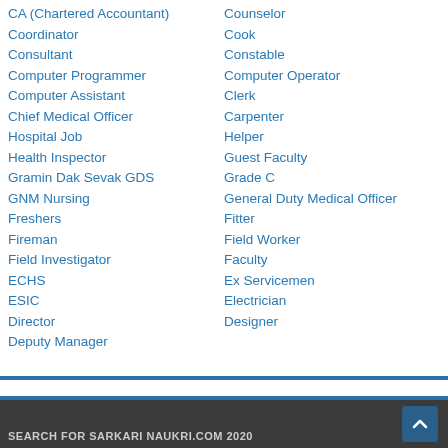CA (Chartered Accountant)
Counselor
Coordinator
Cook
Consultant
Constable
Computer Programmer
Computer Operator
Computer Assistant
Clerk
Chief Medical Officer
Carpenter
Hospital Job
Helper
Health Inspector
Guest Faculty
Gramin Dak Sevak GDS
Grade C
GNM Nursing
General Duty Medical Officer
Freshers
Fitter
Fireman
Field Worker
Field Investigator
Faculty
ECHS
Ex Servicemen
ESIC
Electrician
Director
Designer
Deputy Manager
SEARCH FOR SARKARI NAUKRI.COM 2020